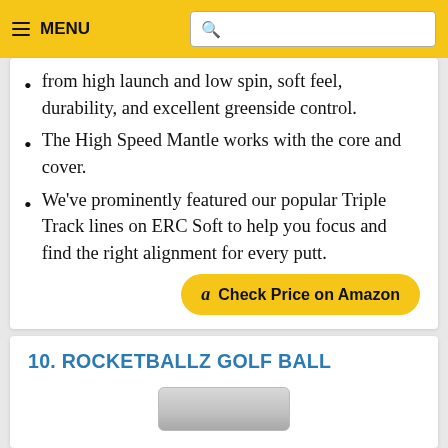MENU [search bar]
from high launch and low spin, soft feel, durability, and excellent greenside control.
The High Speed Mantle works with the core and cover.
We've prominently featured our popular Triple Track lines on ERC Soft to help you focus and find the right alignment for every putt.
Check Price on Amazon
10. ROCKETBALLZ GOLF BALL
[Figure (photo): Partial image of Rocketballz golf ball packaging at bottom of page]